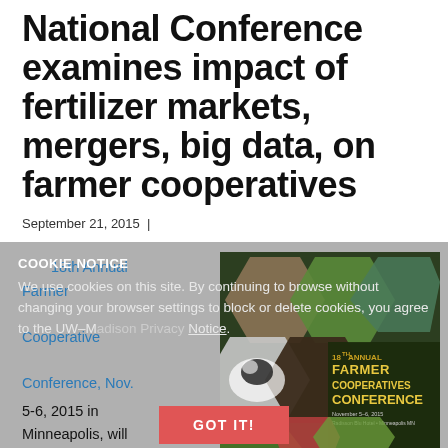National Conference examines impact of fertilizer markets, mergers, big data, on farmer cooperatives
September 21, 2015 |
COOKIE NOTICE
We use cookies on this site. By continuing to browse without changing your browser settings to block or delete cookies, you agree to the UW–Madison Privacy Notice.
The 18th Annual Farmer Cooperative Conference, Nov. 5-6, 2015 in Minneapolis, will examine effects...
[Figure (photo): 18th Annual Farmer Cooperatives Conference brochure/poster with hexagonal photo collage showing agricultural images including cows, fields, crops, and conference title text.]